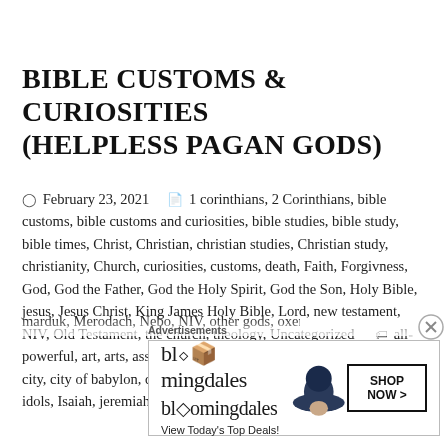BIBLE CUSTOMS & CURIOSITIES (HELPLESS PAGAN GODS)
February 23, 2021   1 corinthians, 2 Corinthians, bible customs, bible customs and curiosities, bible studies, bible study, bible times, Christ, Christian, christian studies, Christian study, christianity, Church, curiosities, customs, death, Faith, Forgivness, God, God the Father, God the Holy Spirit, God the Son, Holy Bible, jesus, Jesus Christ, King James Holy Bible, Lord, new testament, NIV, Old Testament, the church, theology, Uncategorized   all-powerful, art, arts, assyrian, babylonians, beast, bel, boweth, burden, city, city of babylon, devil, evil, helpless pagan gods, Horses, idol, idols, Isaiah, jeremiah, King Nebuchadnezzar, KJV, marduk, Merodach, Nebo, NIV, other gods, oxen, pagan god, power...
[Figure (illustration): Bloomingdales advertisement banner with logo, tagline 'View Today's Top Deals!' and SHOP NOW button, with woman in hat image]